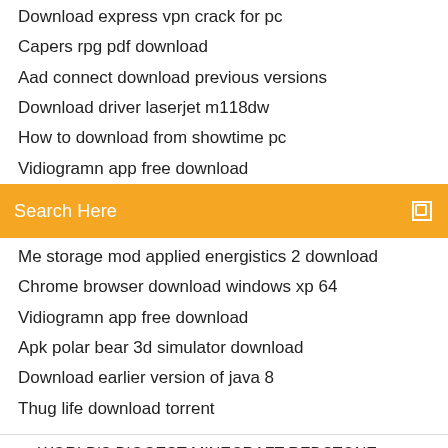Download express vpn crack for pc
Capers rpg pdf download
Aad connect download previous versions
Download driver laserjet m118dw
How to download from showtime pc
Vidiogramn app free download
Search Here
Me storage mod applied energistics 2 download
Chrome browser download windows xp 64
Vidiogramn app free download
Apk polar bear 3d simulator download
Download earlier version of java 8
Thug life download torrent
WORLD'S BIGGEST MINECRAFT REDSTONE HOUSE! safest house in Minec The best and safest house ever created in Minecraft! This page has been automatically translated from volleyball.